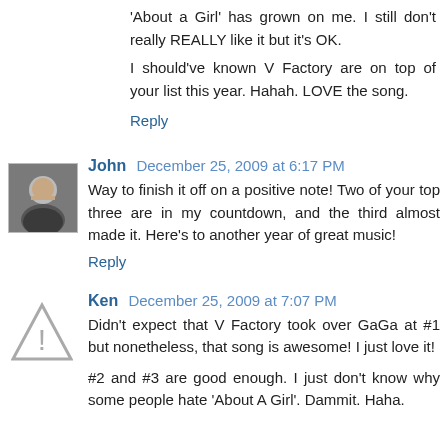'About a Girl' has grown on me. I still don't really REALLY like it but it's OK.
I should've known V Factory are on top of your list this year. Hahah. LOVE the song.
Reply
John  December 25, 2009 at 6:17 PM
Way to finish it off on a positive note! Two of your top three are in my countdown, and the third almost made it. Here's to another year of great music!
Reply
Ken  December 25, 2009 at 7:07 PM
Didn't expect that V Factory took over GaGa at #1 but nonetheless, that song is awesome! I just love it!
#2 and #3 are good enough. I just don't know why some people hate 'About A Girl'. Dammit. Haha.